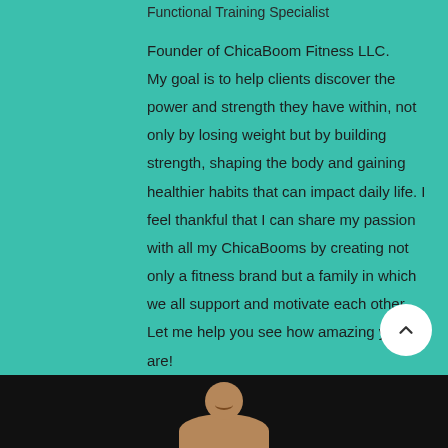Functional Training Specialist
Founder of ChicaBoom Fitness LLC.
My goal is to help clients discover the power and strength they have within, not only by losing weight but by building strength, shaping the body and gaining healthier habits that can impact daily life. I feel thankful that I can share my passion with all my ChicaBooms by creating not only a fitness brand but a family in which we all support and motivate each other. Let me help you see how amazing you are!
See you soon!
[Figure (photo): Photo of a woman smiling, shown from shoulders up against a dark background]